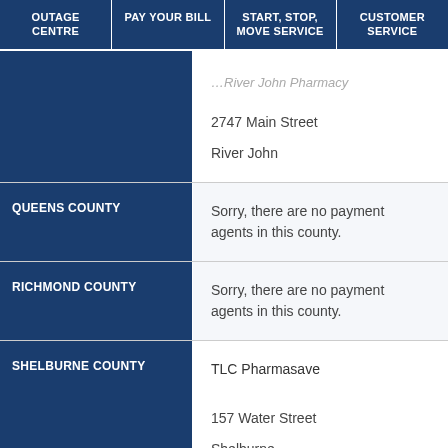OUTAGE CENTRE | PAY YOUR BILL | START, STOP, MOVE SERVICE | CUSTOMER SERVICE
| County | Information |
| --- | --- |
| (partial - River John Pharmacy) | 2747 Main Street
River John |
| QUEENS COUNTY | Sorry, there are no payment agents in this county. |
| RICHMOND COUNTY | Sorry, there are no payment agents in this county. |
| SHELBURNE COUNTY | TLC Pharmasave
157 Water Street
Shelburne |